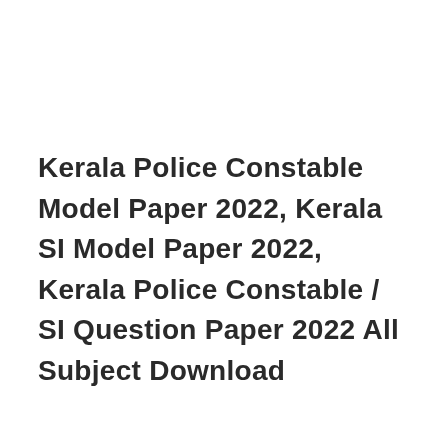Kerala Police Constable Model Paper 2022, Kerala SI Model Paper 2022, Kerala Police Constable / SI Question Paper 2022 All Subject Download